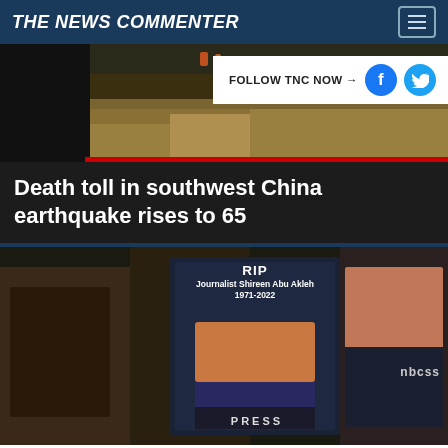THE NEWS COMMENTER
[Figure (photo): Aerial/ground view of flood waters in China, dark banks visible with murky brown water]
FOLLOW TNC NOW →
Death toll in southwest China earthquake rises to 65
[Figure (photo): Protest photo showing people holding signs mourning journalist Shireen Abu Akleh. Central sign reads: RIP Journalist Shireen Abu Akleh 1971-2022, with her photo in a PRESS vest. Right side shows a woman in a PRESS vest. Left side shows protest materials.]
Israel says there's a 'high possibility' that